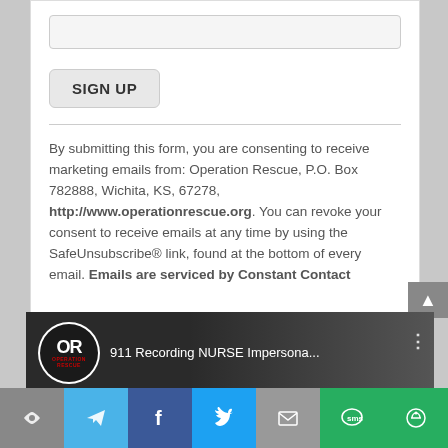[Figure (screenshot): A 'SIGN UP' button with rounded rectangle styling on a white card background, above a horizontal rule divider.]
By submitting this form, you are consenting to receive marketing emails from: Operation Rescue, P.O. Box 782888, Wichita, KS, 67278, http://www.operationrescue.org. You can revoke your consent to receive emails at any time by using the SafeUnsubscribe® link, found at the bottom of every email. Emails are serviced by Constant Contact
[Figure (screenshot): YouTube video thumbnail for '911 Recording NURSE Impersona...' with Operation Rescue logo, dark background, and text '911 Recording: NURSE Impersonated' in white and teal.]